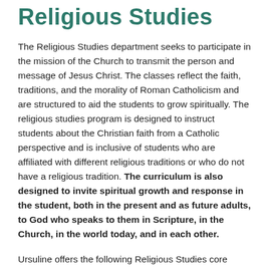Religious Studies
The Religious Studies department seeks to participate in the mission of the Church to transmit the person and message of Jesus Christ. The classes reflect the faith, traditions, and the morality of Roman Catholicism and are structured to aid the students to grow spiritually. The religious studies program is designed to instruct students about the Christian faith from a Catholic perspective and is inclusive of students who are affiliated with different religious traditions or who do not have a religious tradition. The curriculum is also designed to invite spiritual growth and response in the student, both in the present and as future adults, to God who speaks to them in Scripture, in the Church, in the world today, and in each other.
Ursuline offers the following Religious Studies core